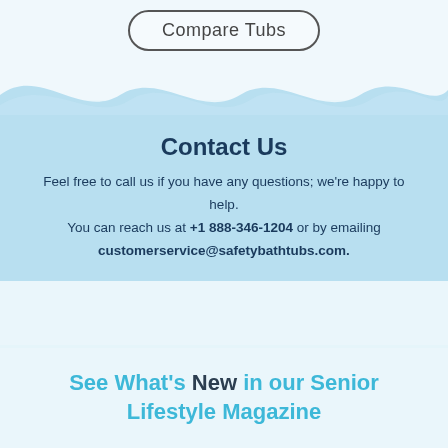[Figure (other): Button with rounded rectangle border labeled 'Compare Tubs']
Contact Us
Feel free to call us if you have any questions; we're happy to help.
You can reach us at +1 888-346-1204 or by emailing customerservice@safetybathtubs.com.
See What's New in our Senior Lifestyle Magazine